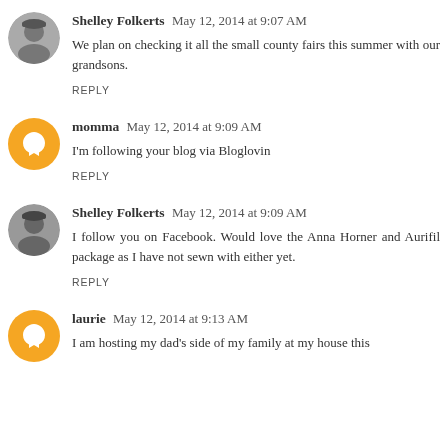Shelley Folkerts  May 12, 2014 at 9:07 AM
We plan on checking it all the small county fairs this summer with our grandsons.
REPLY
momma  May 12, 2014 at 9:09 AM
I'm following your blog via Bloglovin
REPLY
Shelley Folkerts  May 12, 2014 at 9:09 AM
I follow you on Facebook. Would love the Anna Horner and Aurifil package as I have not sewn with either yet.
REPLY
laurie  May 12, 2014 at 9:13 AM
I am hosting my dad's side of my family at my house this